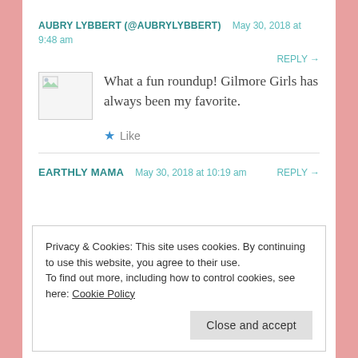AUBRY LYBBERT (@AUBRYLYBBERT)  May 30, 2018 at 9:48 am
REPLY →
[Figure (photo): Avatar placeholder image with broken image icon]
What a fun roundup! Gilmore Girls has always been my favorite.
★ Like
EARTHLY MAMA  May 30, 2018 at 10:19 am  REPLY →
Privacy & Cookies: This site uses cookies. By continuing to use this website, you agree to their use.
To find out more, including how to control cookies, see here: Cookie Policy
Close and accept